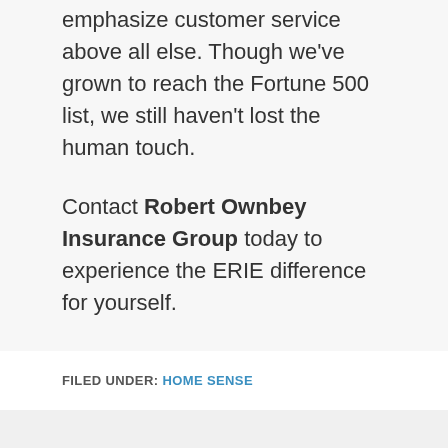emphasize customer service above all else. Though we've grown to reach the Fortune 500 list, we still haven't lost the human touch.
Contact Robert Ownbey Insurance Group today to experience the ERIE difference for yourself.
FILED UNDER: HOME SENSE
Start Saving Today